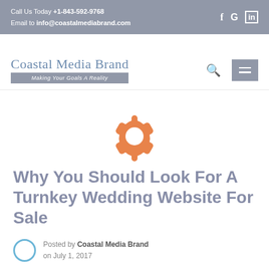Call Us Today +1-843-592-9768 | Email to info@coastalmediabrand.com
[Figure (logo): Coastal Media Brand logo with tagline 'Making Your Goals A Reality']
[Figure (illustration): Orange gear/settings icon]
Why You Should Look For A Turnkey Wedding Website For Sale
Posted by Coastal Media Brand on July 1, 2017